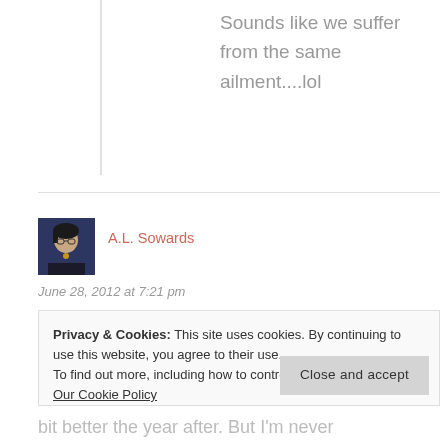Sounds like we suffer from the same ailment....lol
A.L. Sowards
June 28, 2012 at 7:21 pm
Privacy & Cookies: This site uses cookies. By continuing to use this website, you agree to their use.
To find out more, including how to control cookies, see here:
Our Cookie Policy
Close and accept
bit better the year after. But I'm never